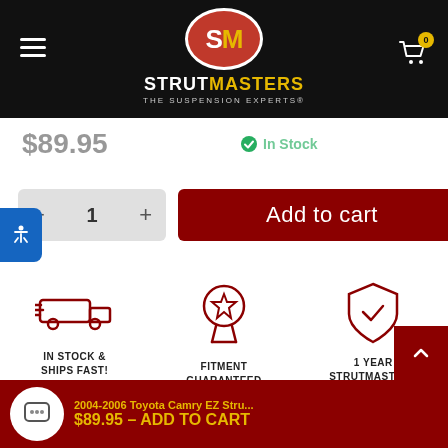[Figure (logo): Strutmasters logo: red oval with SM initials in white and gold, with STRUTMASTERS THE SUSPENSION EXPERTS text below in white and gold on black header background]
$89.95
In Stock
1  Add to cart
[Figure (infographic): Three benefit icons in dark red: shipping truck (IN STOCK & SHIPS FAST!), star medal (FITMENT GUARANTEED), shield with checkmark (1 YEAR STRUTMASTERS WARRANTY)]
IN STOCK & SHIPS FAST!
FITMENT GUARANTEED
1 YEAR STRUTMASTERS WARRANTY
2004-2006 Toyota Camry EZ Stru...
$89.95 - ADD TO CART